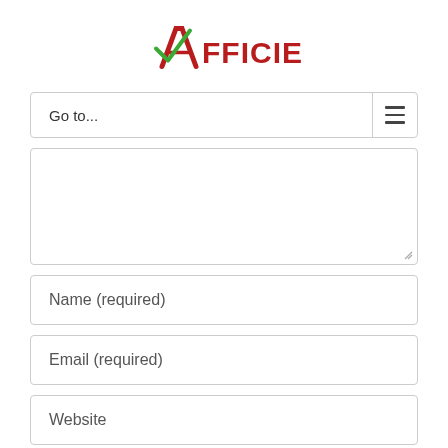[Figure (logo): Efficient company logo with a stylized checkmark/A in green and red, followed by 'FFICIENT' in dark red bold text]
Go to...
[Figure (other): Empty textarea input field with resize handle]
Name (required)
Email (required)
Website